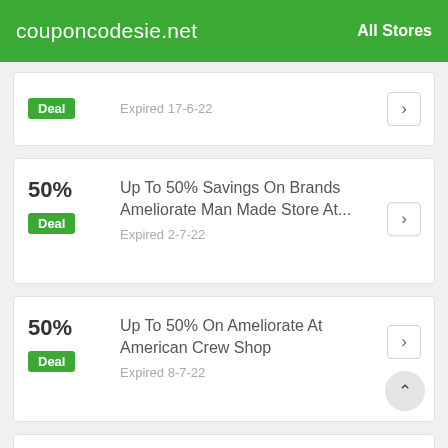couponcodesie.net   All Stores
Deal   Expired 17-6-22
50%   Up To 50% Savings On Brands Ameliorate Man Made Store At...   Deal   Expired 2-7-22
50%   Up To 50% On Ameliorate At American Crew Shop   Deal   Expired 8-7-22